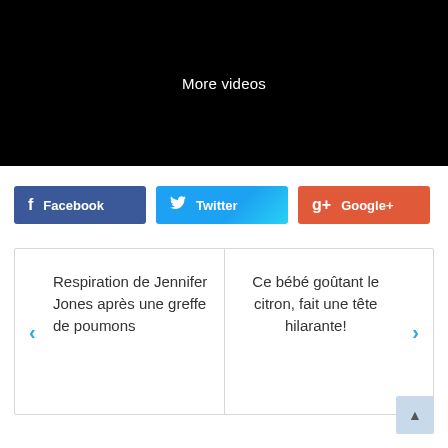[Figure (screenshot): Black video player area with 'More videos' text in white center]
[Figure (infographic): Social share buttons: Facebook (dark blue), Twitter (light blue gradient), Google+ (orange-red)]
Respiration de Jennifer Jones après une greffe de poumons
Ce bébé goûtant le citron, fait une tête hilarante!